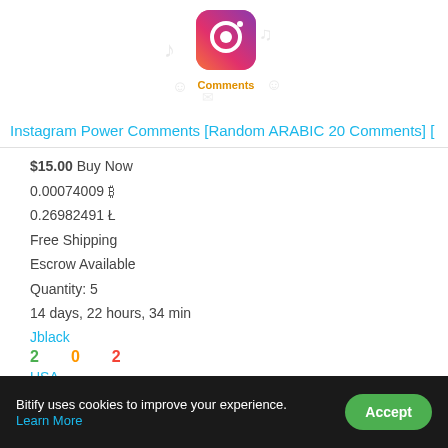[Figure (illustration): Instagram Comments product image with Instagram logo icon and decorative music/emoji icons around it, labeled 'Comments']
Instagram Power Comments [Random ARABIC 20 Comments] [
$15.00 Buy Now
0.00074009 ₿
0.26982491 Ł
Free Shipping
Escrow Available
Quantity: 5
14 days, 22 hours, 34 min
Jblack
2  0  2
USA
Bitify uses cookies to improve your experience. Learn More